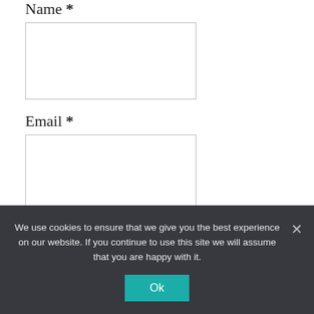Name *
Email *
Website
We use cookies to ensure that we give you the best experience on our website. If you continue to use this site we will assume that you are happy with it.
Ok